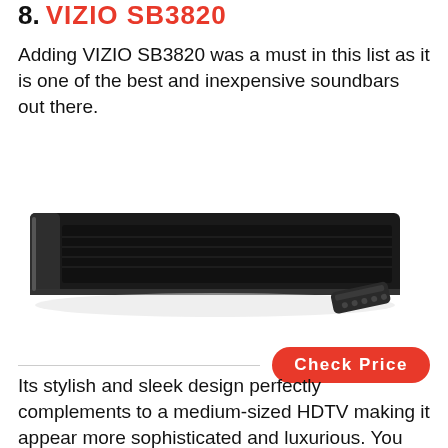8. VIZIO SB3820
Adding VIZIO SB3820 was a must in this list as it is one of the best and inexpensive soundbars out there.
[Figure (photo): A slim black VIZIO SB3820 soundbar with a small remote control placed to its right, shown on a white background.]
Check Price
Its stylish and sleek design perfectly complements to a medium-sized HDTV making it appear more sophisticated and luxurious. You won't have to worry about the hassle of wires as it has a built-in Bluetooth